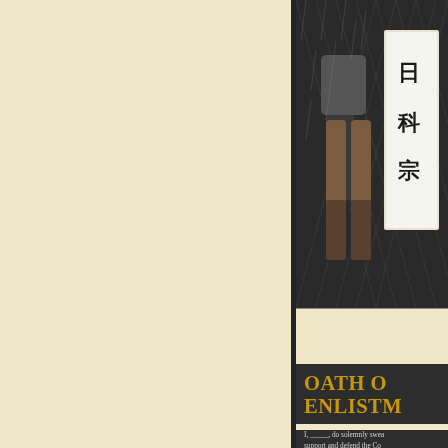[Figure (photo): A photo of a person's legs in athletic/military gear with a sign containing Japanese/Chinese characters in the background. Dark and dramatic lighting.]
OATH OF ENLISTMENT
I, _____, do solemnly swear (or affirm) that I will support and defend the Constitution of the United States against all enemies, foreign and domestic; that I will bear true faith and allegiance to the same; and that I will obey the orders of the President of the United States and the orders of the officers appointed over me, according to regulations and the Uniform Code of Military Justice. So